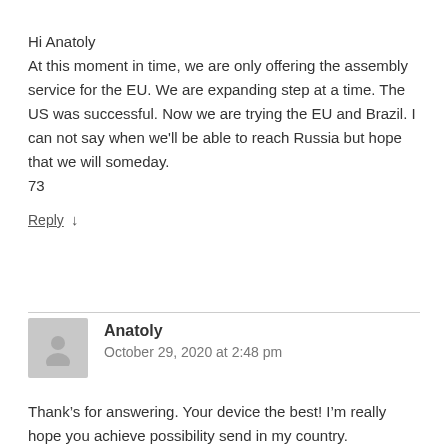Hi Anatoly
At this moment in time, we are only offering the assembly service for the EU. We are expanding step at a time. The US was successful. Now we are trying the EU and Brazil. I can not say when we'll be able to reach Russia but hope that we will someday.
73
Reply ↓
Anatoly
October 29, 2020 at 2:48 pm
Thank's for answering. Your device the best! I'm really hope you achieve possibility send in my country.